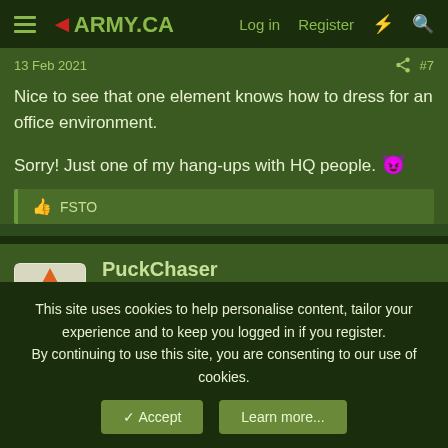4ARMY.CA  Log in  Register
13 Feb 2021  #7
Nice to see that one element knows how to dress for an office environment.

Sorry! Just one of my hang-ups with HQ people. 😈
👍 FSTO
PuckChaser
Moderator  Staff member  Directing Staff  Mentor
13 Feb 2021  #8
This site uses cookies to help personalise content, tailor your experience and to keep you logged in if you register.
By continuing to use this site, you are consenting to our use of cookies.
✓ Accept   Learn more...